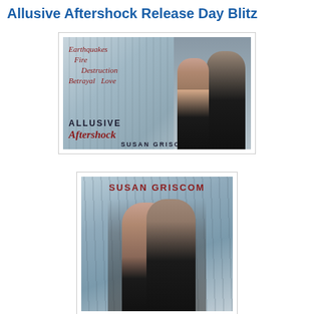Allusive Aftershock Release Day Blitz
[Figure (illustration): Book banner for 'Allusive Aftershock' by Susan Griscom. Wide banner-format cover showing a couple embracing in a misty forest. Text overlay reads: Earthquakes, Fire, Destruction, Betrayal, Love. Title 'ALLUSIVE Aftershock' and author name 'SUSAN GRISCOM' displayed.]
[Figure (illustration): Book cover for 'Allusive Aftershock' by Susan Griscom. Portrait-format cover showing a couple embracing in a misty forest with tall trees. Author name 'SUSAN GRISCOM' displayed at top in dark red.]